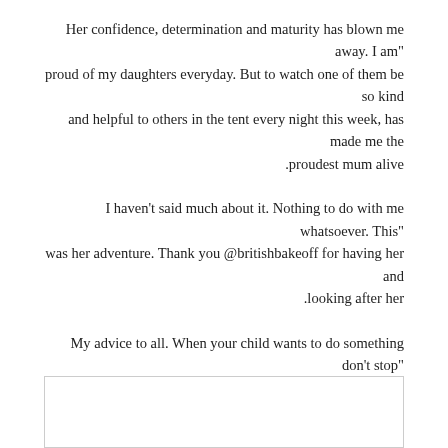"Her confidence, determination and maturity has blown me away. I am proud of my daughters everyday. But to watch one of them be so kind and helpful to others in the tent every night this week, has made me the proudest mum alive.
"I haven't said much about it. Nothing to do with me whatsoever. This was her adventure. Thank you @britishbakeoff for having her and looking after her.
"My advice to all. When your child wants to do something don't stop them. Dreams do come true".
Natalie shared Eliza with her former boyfriend Adam Cottrell and she is also mum to Joanie with her husband – EastEnders cameraman Marc Humphreys.
[Figure (other): Empty white box with light border at bottom of page]